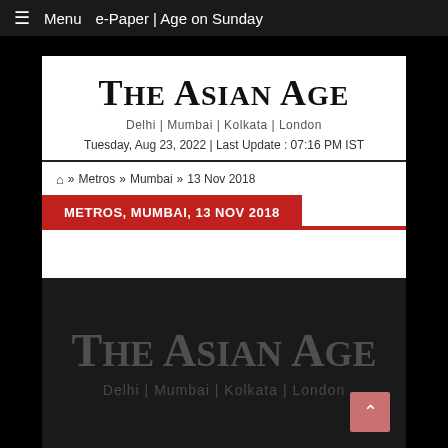≡ Menu  e-Paper | Age on Sunday
The Asian Age
Delhi | Mumbai | Kolkata | London
Tuesday, Aug 23, 2022 | Last Update : 07:16 PM IST
🏠 » Metros » Mumbai » 13 Nov 2018
METROS, MUMBAI, 13 NOV 2018
[Figure (logo): The Asian Age watermark logo with text 'Delhi | Mumbai | Kolkata | London' on dark background]